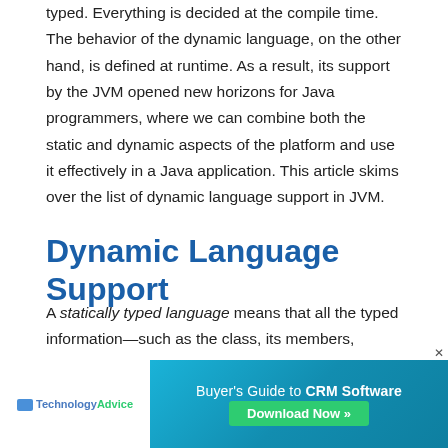typed. Everything is decided at the compile time. The behavior of the dynamic language, on the other hand, is defined at runtime. As a result, its support by the JVM opened new horizons for Java programmers, where we can combine both the static and dynamic aspects of the platform and use it effectively in a Java application. This article skims over the list of dynamic language support in JVM.
Dynamic Language Support
A statically typed language means that all the typed information—such as the class, its members, function parameters, return type values, and so forth—are all decided at compile time. The Java compiler uses this inform... simpl...
[Figure (other): Advertisement overlay: Buyer's Guide to CRM Software Download Now button, with TechnologyAdvice logo on left side.]